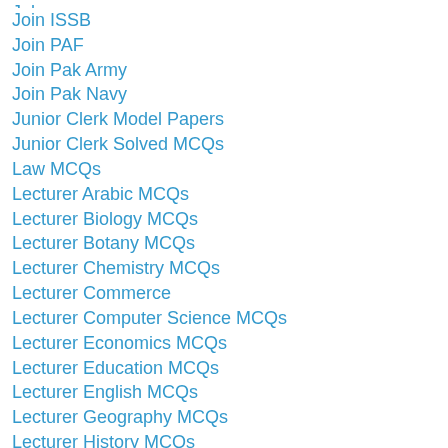Jobs
Join ISSB
Join PAF
Join Pak Army
Join Pak Navy
Junior Clerk Model Papers
Junior Clerk Solved MCQs
Law MCQs
Lecturer Arabic MCQs
Lecturer Biology MCQs
Lecturer Botany MCQs
Lecturer Chemistry MCQs
Lecturer Commerce
Lecturer Computer Science MCQs
Lecturer Economics MCQs
Lecturer Education MCQs
Lecturer English MCQs
Lecturer Geography MCQs
Lecturer History MCQs
Lecturer Islamic Studies MCQs
Lecturer KPPSC Jobs
Lecturer Mass & Communication MCQs